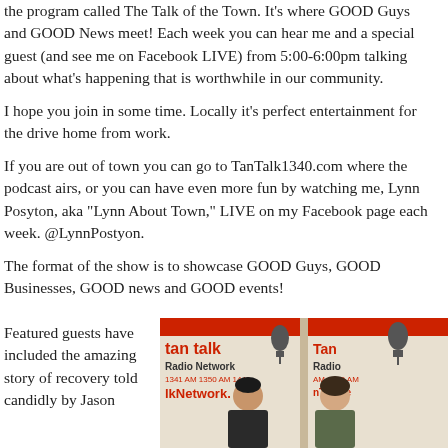the program called The Talk of the Town. It's where GOOD Guys and GOOD News meet! Each week you can hear me and a special guest (and see me on Facebook LIVE) from 5:00-6:00pm talking about what's happening that is worthwhile in our community.
I hope you join in some time. Locally it's perfect entertainment for the drive home from work.
If you are out of town you can go to TanTalk1340.com where the podcast airs, or you can have even more fun by watching me, Lynn Posyton, aka "Lynn About Town," LIVE on my Facebook page each week. @LynnPostyon.
The format of the show is to showcase GOOD Guys, GOOD Businesses, GOOD news and GOOD events!
Featured guests have included the amazing story of recovery told candidly by Jason
[Figure (photo): Photo of two people standing in front of Tan Talk Radio Network 1340 AM signage/banners in a radio studio setting. A man and a woman smiling at the camera.]